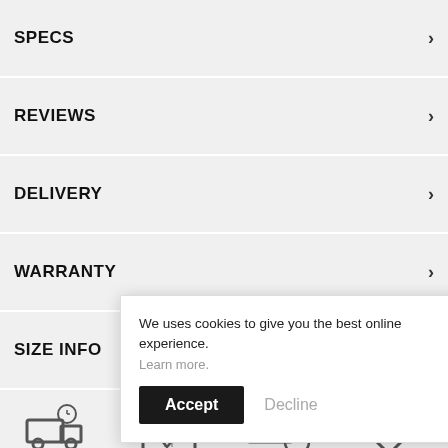SPECS
REVIEWS
DELIVERY
WARRANTY
SIZE INFO
[Figure (infographic): Four icons with labels: delivery truck with clock (FREE UK DELIVERY), calendar (30 DAY RETURNS), credit card with clock (BUY NOW PAY LATER), price tag (PRICE PROMISE)]
We uses cookies to give you the best online experience. Learn more.
Accept | Decline